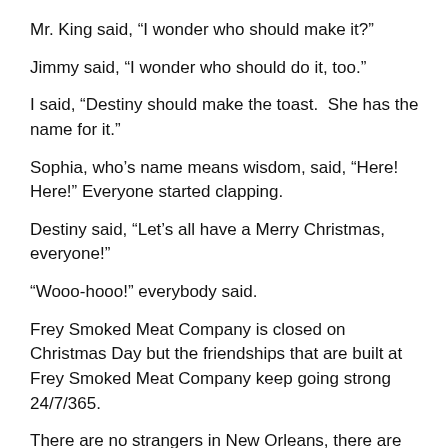Mr. King said, “I wonder who should make it?”
Jimmy said, “I wonder who should do it, too.”
I said, “Destiny should make the toast.  She has the name for it.”
Sophia, who’s name means wisdom, said, “Here! Here!” Everyone started clapping.
Destiny said, “Let’s all have a Merry Christmas, everyone!”
“Wooo-hooo!” everybody said.
Frey Smoked Meat Company is closed on Christmas Day but the friendships that are built at Frey Smoked Meat Company keep going strong 24/7/365.
There are no strangers in New Orleans, there are only friends that you haven’t yet met.  We are all in this together. Familiarity enables friendship.
Somebody walking down David Street stopped and waved